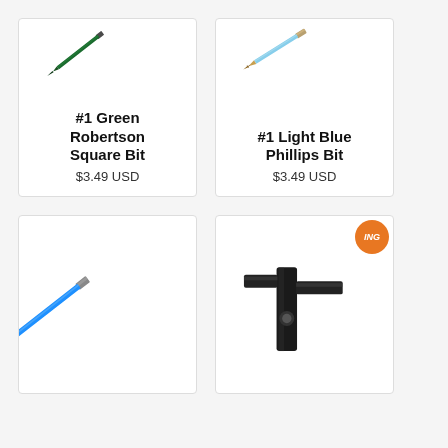[Figure (photo): Green Robertson Square Bit screwdriver bit, diagonal orientation, dark green color]
#1 Green Robertson Square Bit
$3.49 USD
[Figure (photo): Light blue Phillips Bit screwdriver bit, diagonal orientation, light blue shaft with gold/bronze tip]
#1 Light Blue Phillips Bit
$3.49 USD
[Figure (photo): Blue screwdriver bit, partial view, diagonal orientation]
[Figure (photo): Black tool/clamp device with orange watermark badge]